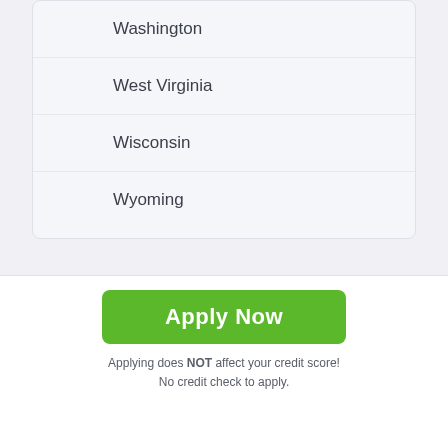Washington
West Virginia
Wisconsin
Wyoming
Payday Loans Pittsburg CA
Payday Loans Buckhannon WV
Apply Now
Applying does NOT affect your credit score! No credit check to apply.